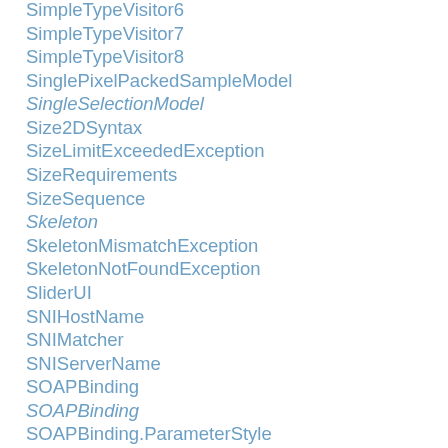SimpleTypeVisitor6
SimpleTypeVisitor7
SimpleTypeVisitor8
SinglePixelPackedSampleModel
SingleSelectionModel
Size2DSyntax
SizeLimitExceededException
SizeRequirements
SizeSequence
Skeleton
SkeletonMismatchException
SkeletonNotFoundException
SliderUI
SNIHostName
SNIMatcher
SNIServerName
SOAPBinding
SOAPBinding
SOAPBinding.ParameterStyle
SOAPBinding.Style
SOAPBinding.Use
SOAPBody
SOAPBodyElement
SOAPConnection
SOAPConnectionFactory
SOAPConstants
SOAPElement
SOAPElementFactory